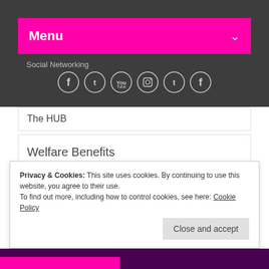Menu
Social Networking
[Figure (other): Social media icons: Facebook, Twitter, YouTube, Instagram, Twitter, Facebook]
The HUB
Welfare Benefits
Volunteer with Mind in Croydon
Croydon Services
Privacy & Cookies: This site uses cookies. By continuing to use this website, you agree to their use.
To find out more, including how to control cookies, see here: Cookie Policy